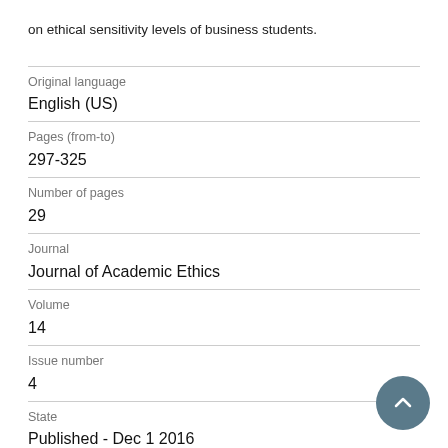on ethical sensitivity levels of business students.
| Field | Value |
| --- | --- |
| Original language | English (US) |
| Pages (from-to) | 297-325 |
| Number of pages | 29 |
| Journal | Journal of Academic Ethics |
| Volume | 14 |
| Issue number | 4 |
| State | Published - Dec 1 2016 |